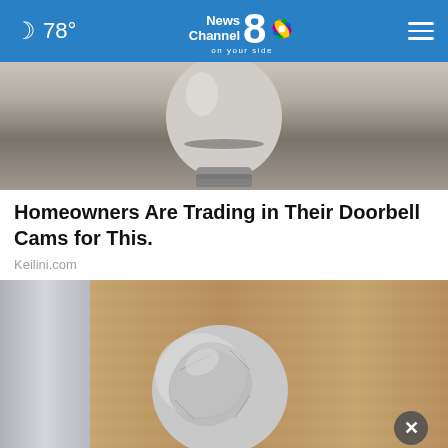78° News Channel 8 on your side
[Figure (photo): Close-up photo of the bottom of a light bulb against a light background]
Homeowners Are Trading in Their Doorbell Cams for This.
Keilini.com
[Figure (photo): Photo of a door knob wrapped in aluminum foil on a wooden door, with a close button overlay and an advertisement banner for Team Borham realty at the bottom]